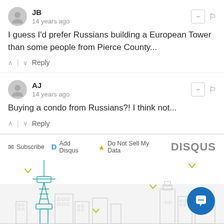JB
14 years ago
I guess I'd prefer Russians building a European Tower than some people from Pierce County...
AJ
14 years ago
Buying a condo from Russians?! I think not...
Subscribe  Add Disqus  Do Not Sell My Data  DISQUS
[Figure (illustration): Seattle skyline illustration with Space Needle and city buildings in teal/gray outline style, with yellow bird accents and a blue chat button in the bottom right.]